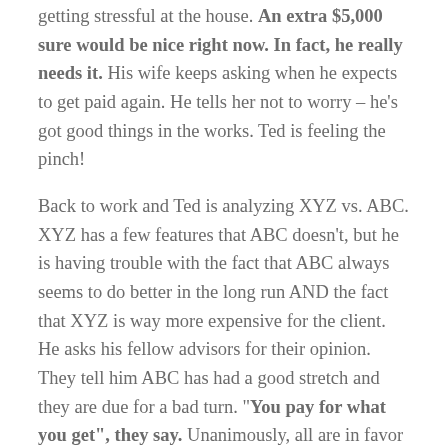getting stressful at the house. An extra $5,000 sure would be nice right now. In fact, he really needs it. His wife keeps asking when he expects to get paid again. He tells her not to worry – he's got good things in the works. Ted is feeling the pinch!
Back to work and Ted is analyzing XYZ vs. ABC. XYZ has a few features that ABC doesn't, but he is having trouble with the fact that ABC always seems to do better in the long run AND the fact that XYZ is way more expensive for the client. He asks his fellow advisors for their opinion. They tell him ABC has had a good stretch and they are due for a bad turn. "You pay for what you get", they say. Unanimously, all are in favor of XYZ.
So then Ted asks the product experts at his firm for their opinions. They reinforce the positive qualities